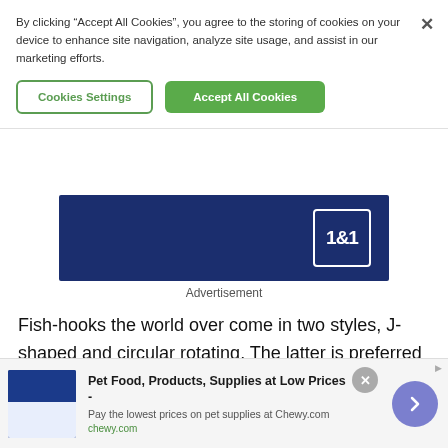By clicking “Accept All Cookies”, you agree to the storing of cookies on your device to enhance site navigation, analyze site usage, and assist in our marketing efforts.
Cookies Settings
Accept All Cookies
[Figure (logo): 1&1 logo on dark blue banner advertisement background]
Advertisement
Fish-hooks the world over come in two styles, J-shaped and circular rotating. The latter is preferred for deep water fishing where lines cannot be kept
[Figure (infographic): Bottom banner ad for Chewy.com: Pet Food, Products, Supplies at Low Prices - Pay the lowest prices on pet supplies at Chewy.com]